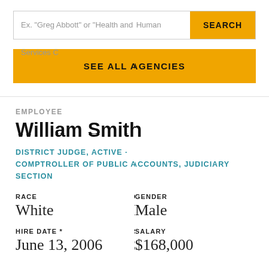[Figure (screenshot): Search bar with placeholder text 'Ex. "Greg Abbott" or "Health and Human Services C"' and a yellow SEARCH button]
SEE ALL AGENCIES
EMPLOYEE
William Smith
DISTRICT JUDGE, ACTIVE · COMPTROLLER OF PUBLIC ACCOUNTS, JUDICIARY SECTION
| RACE | GENDER |
| --- | --- |
| White | Male |
| HIRE DATE * | SALARY |
| --- | --- |
| June 13, 2006 | $168,000 |